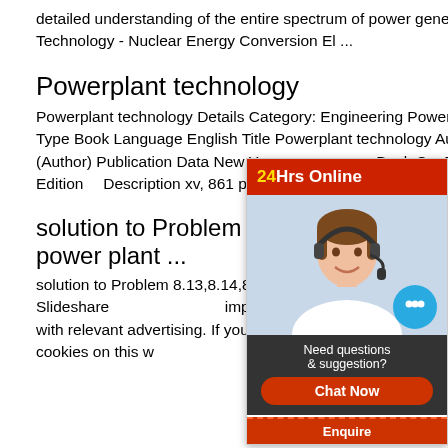detailed understanding of the entire spectrum of power generation systems. Powerplant Technology - Nuclear Energy Conversion El ...
Powerplant technology
Powerplant technology Details Category: Engineering Powerplant technology Material Type Book Language English Title Powerplant technology Author(S) M. M. El-Wakil (Author) Publication Data New York: McGraw-Hill Book Co. Publication€ Date 1984 Edition --- Description xv, 861 p. : ill. ; 21 cm. Subject Headings
solution to Problem 8.13,8.14,8.1... power plant ...
solution to Problem 8.13,8.14,8.15,8.16 from powerplant technology by MM.EL.WAKIL Slideshare uses cookies to improve functionality and performance, and to provide you with relevant advertising. If you continue browsing the site, you agree to the use of cookies on this w...
[Figure (other): Live chat widget overlay with '24Hrs Online' header in red, photo of woman with headset, chat bubble icon, 'Need questions & suggestion?' text, 'Chat Now' orange button, and 'Enquire' bar at bottom.]